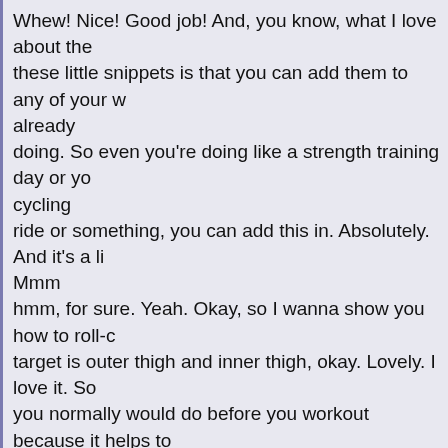Whew! Nice! Good job! And, you know, what I love about these little snippets is that you can add them to any of your w already doing. So even you're doing like a strength training day or you cycling ride or something, you can add this in. Absolutely. And it's a li Mmm hmm, for sure. Yeah. Okay, so I wanna show you how to roll-o target is outer thigh and inner thigh, okay. Lovely. I love it. So you normally would do before you workout because it helps to the muscles. You can obviously do it afterward if you've had like a super ha a lot of lactic acid build-up. It helps to kinda diminish that. We color rollers. Yay, rollers! But the difference is the density. So -- I like most people to start with the black one. But it goes: W And then blue and then black. So the density is how much yo massage. And I do wanna warn you and everyone ahead of time, there when you're first starting. So I don't want you to freak out and right! This can't be right!" You do have a little bit of discomfort